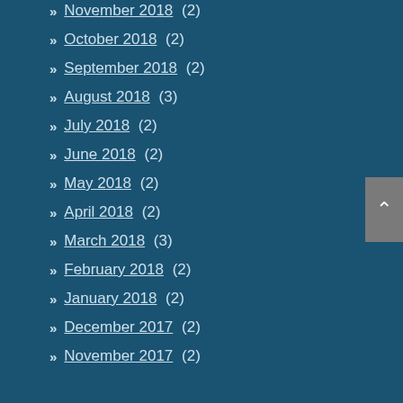November 2018 (2)
October 2018 (2)
September 2018 (2)
August 2018 (3)
July 2018 (2)
June 2018 (2)
May 2018 (2)
April 2018 (2)
March 2018 (3)
February 2018 (2)
January 2018 (2)
December 2017 (2)
November 2017 (2)